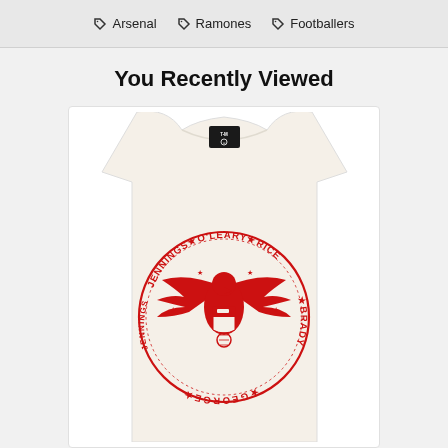Arsenal   Ramones   Footballers
You Recently Viewed
[Figure (photo): A cream/off-white t-shirt with a red circular Ramones-style badge graphic reading JENNINGS★O'LEARY★RICE★BRADY★GEORGE around an eagle and Arsenal crest design. Black clothing tag visible at collar.]